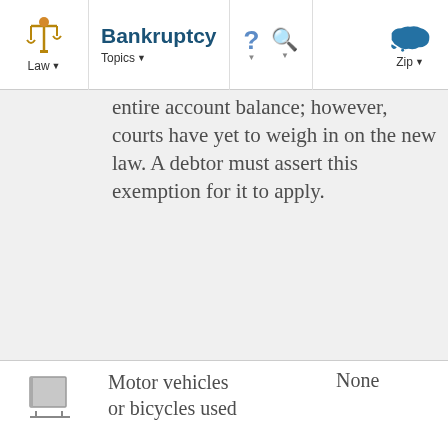Bankruptcy — Law | Topics | ? | Search | Zip
entire account balance; however, courts have yet to weigh in on the new law. A debtor must assert this exemption for it to apply.
Motor vehicles or bicycles used
None